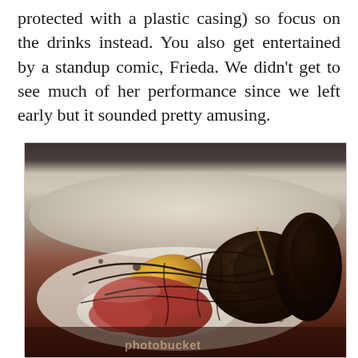protected with a plastic casing) so focus on the drinks instead. You also get entertained by a standup comic, Frieda. We didn't get to see much of her performance since we left early but it sounded pretty amusing.
[Figure (photo): A close-up photo of a dessert dish on a white plate, featuring items drizzled with dark chocolate sauce, including what appears to be fruit (orange/yellow pieces), strawberries, and a dark chocolate mound, with a photobucket watermark visible at the bottom.]